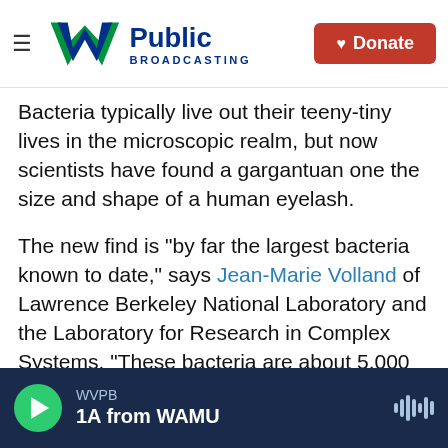W Public Broadcasting | Donate
Bacteria typically live out their teeny-tiny lives in the microscopic realm, but now scientists have found a gargantuan one the size and shape of a human eyelash.
The new find is "by far the largest bacteria known to date," says Jean-Marie Volland of Lawrence Berkeley National Laboratory and the Laboratory for Research in Complex Systems. "These bacteria are about 5,000 times larger than most bacteria."
"To put things into perspective," he added, "it is the equivalent for us humans to encounter another human who would be as tall as Mount Everest."
WVPB | 1A from WAMU